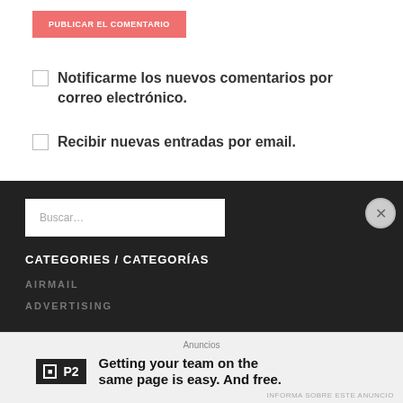PUBLICAR EL COMENTARIO
Notificarme los nuevos comentarios por correo electrónico.
Recibir nuevas entradas por email.
Buscar...
CATEGORIES / CATEGORÍAS
AIRMAIL
ADVERTISING
Anuncios
Getting your team on the same page is easy. And free.
INFORMA SOBRE ESTE ANUNCIO